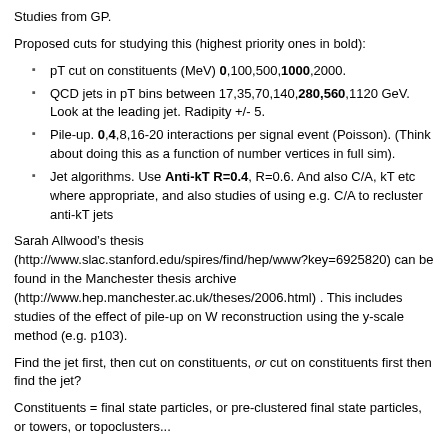Studies from GP.
Proposed cuts for studying this (highest priority ones in bold):
pT cut on constituents (MeV) 0,100,500,1000,2000.
QCD jets in pT bins between 17,35,70,140,280,560,1120 GeV. Look at the leading jet. Radipity +/- 5.
Pile-up. 0,4,8,16-20 interactions per signal event (Poisson). (Think about doing this as a function of number vertices in full sim).
Jet algorithms. Use Anti-kT R=0.4, R=0.6. And also C/A, kT etc where appropriate, and also studies of using e.g. C/A to recluster anti-kT jets
Sarah Allwood’s thesis (http://www.slac.stanford.edu/spires/find/hep/www?key=6925820) can be found in the Manchester thesis archive (http://www.hep.manchester.ac.uk/theses/2006.html) . This includes studies of the effect of pile-up on W reconstruction using the y-scale method (e.g. p103).
Find the jet first, then cut on constituents, or cut on constituents first then find the jet?
Constituents = final state particles, or pre-clustered final state particles, or towers, or topoclusters...
Slides (http://www.hep.ucl.ac.uk/~jmb/Talks/LesHouches/pl_summary.pdf) from Peter and Paulo on the effect of pile up on jet mass and substructure variables.
Miscellaneous References